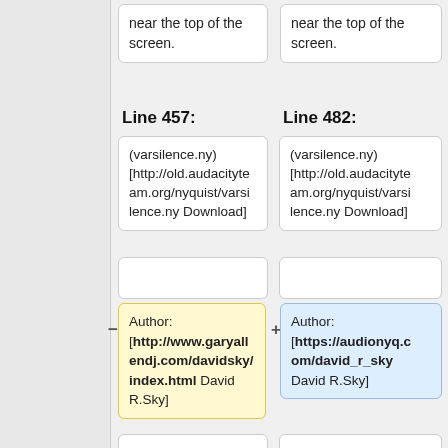near the top of the screen.
near the top of the screen.
Line 457:
Line 482:
(varsilence.ny) [http://old.audacityteam.org/nyquist/varsilence.ny Download]
(varsilence.ny) [http://old.audacityteam.org/nyquist/varsilence.ny Download]
Author: [http://www.garyallendj.com/davidsky/index.html David R.Sky]
Author: [https://audionyq.com/david_r_sky David R.Sky]
This plug-in will generate any length of silence from 0.000 to 60.999 seconds. This plug-in may be useful if you need to run a
This plug-in will generate any length of silence from 0.000 to 60.999 seconds. This plug-in may be useful if you need to run a